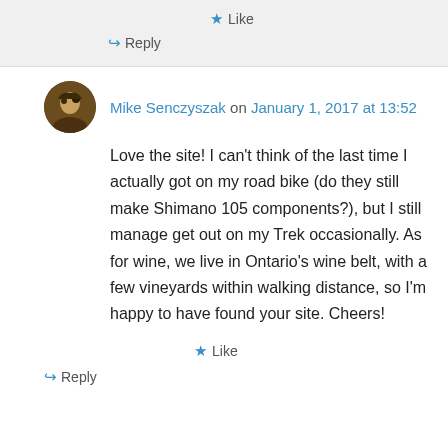★ Like
↪ Reply
Mike Senczyszak on January 1, 2017 at 13:52
Love the site! I can't think of the last time I actually got on my road bike (do they still make Shimano 105 components?), but I still manage get out on my Trek occasionally. As for wine, we live in Ontario's wine belt, with a few vineyards within walking distance, so I'm happy to have found your site. Cheers!
★ Like
↪ Reply